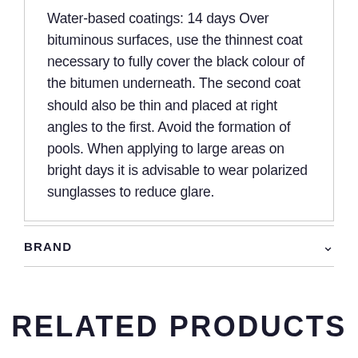24 hours Solvent-based coatings: 3 days Water-based coatings: 14 days Over bituminous surfaces, use the thinnest coat necessary to fully cover the black colour of the bitumen underneath. The second coat should also be thin and placed at right angles to the first. Avoid the formation of pools. When applying to large areas on bright days it is advisable to wear polarized sunglasses to reduce glare.
BRAND
RELATED PRODUCTS